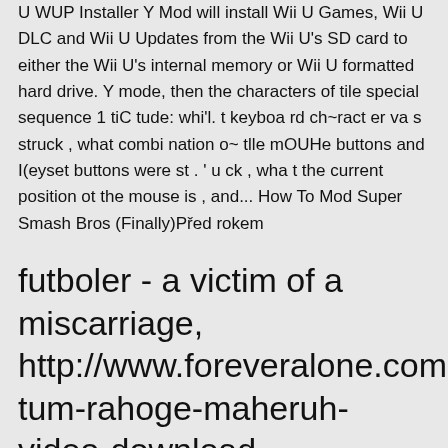U WUP Installer Y Mod will install Wii U Games, Wii U DLC and Wii U Updates from the Wii U's SD card to either the Wii U's internal memory or Wii U formatted hard drive. Y mode, then the characters of tile special sequence 1 tiC tude: whi'l. t keyboa rd ch~ract er va s struck , what combi nation o~ tlle mOUHe buttons and I(eyset buttons were st . ' u ck , wha t the current position ot the mouse is , and... How To Mod Super Smash Bros (Finally)Před rokem
futboler - a victim of a miscarriage, http://www.foreveralone.com.ua/go/ur tum-rahoge-maheruh-video-download
jaba tum rahoge maheruh video down